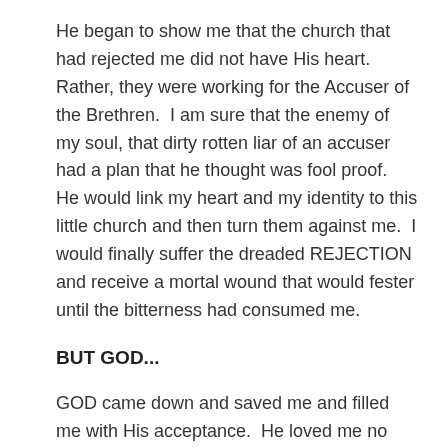He began to show me that the church that had rejected me did not have His heart.  Rather, they were working for the Accuser of the Brethren.  I am sure that the enemy of my soul, that dirty rotten liar of an accuser had a plan that he thought was fool proof.  He would link my heart and my identity to this little church and then turn them against me.  I would finally suffer the dreaded REJECTION and receive a mortal wound that would fester until the bitterness had consumed me.
BUT GOD...
GOD came down and saved me and filled me with His acceptance.  He loved me no matter what I had done right or wrong.  He loved me whether I had accomplished anything important or not.  Because of Him, I had a value that nothing could ever take away